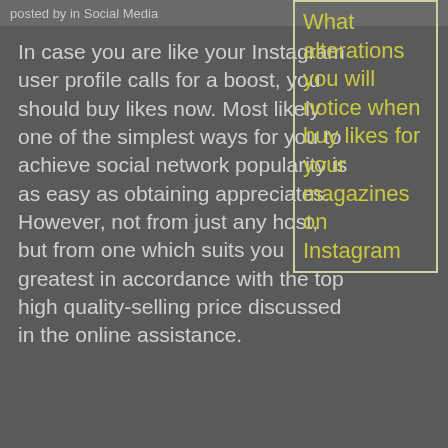posted by in Social Media
In case you are like your Instagram user profile calls for a boost, you should buy likes now. Most likely one of the simplest ways for you to achieve social network popularity is as easy as obtaining appreciates. However, not from just any host, but from one which suits you greatest in accordance with the top high quality-selling price discussed in the online assistance.
What alterations you will notice when buy likes for your magazines on Instagram